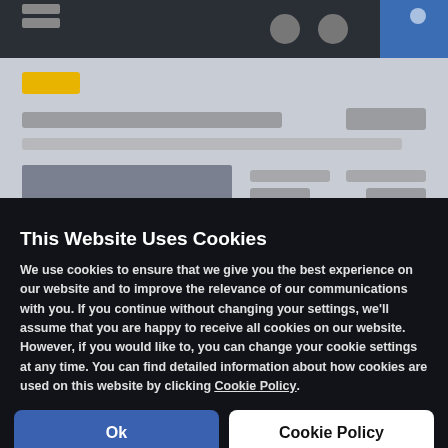[Figure (screenshot): Blurred website background showing a navigation bar, content with yellow tag, title text, price, and product image blocks — all blurred behind a cookie consent overlay.]
This Website Uses Cookies
We use cookies to ensure that we give you the best experience on our website and to improve the relevance of our communications with you. If you continue without changing your settings, we'll assume that you are happy to receive all cookies on our website. However, if you would like to, you can change your cookie settings at any time. You can find detailed information about how cookies are used on this website by clicking Cookie Policy.
Ok
Cookie Policy